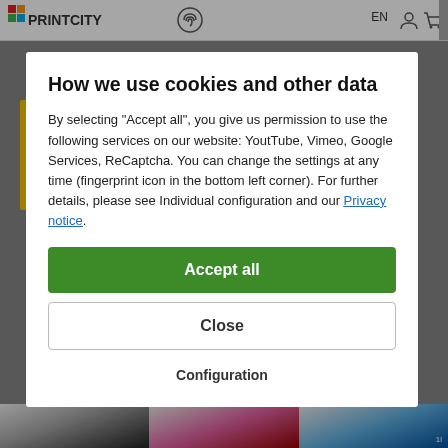PRINTCITY — EN
How we use cookies and other data
By selecting "Accept all", you give us permission to use the following services on our website: YoutTube, Vimeo, Google Services, ReCaptcha. You can change the settings at any time (fingerprint icon in the bottom left corner). For further details, please see Individual configuration and our Privacy notice.
Accept all
Close
Configuration